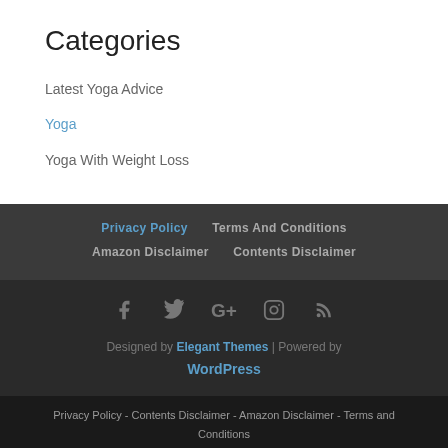Categories
Latest Yoga Advice
Yoga
Yoga With Weight Loss
Privacy Policy  Terms And Conditions  Amazon Disclaimer  Contents Disclaimer
Designed by Elegant Themes | Powered by WordPress
Privacy Policy - Contents Disclaimer - Amazon Disclaimer - Terms and Conditions